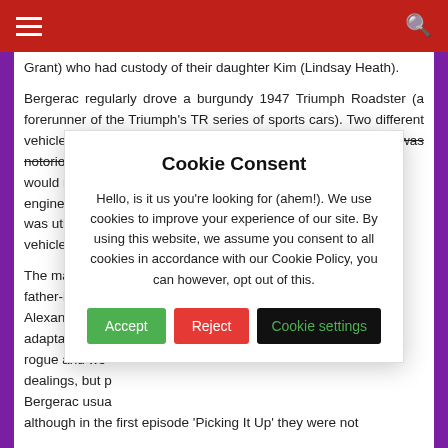≡  🔍
Grant) who had custody of their daughter Kim (Lindsay Heath).

Bergerac regularly drove a burgundy 1947 Triumph Roadster (a forerunner of the Triumph's TR series of sports cars). Two different vehicles were used throughout the series. The original was notoriously unreliable and would not alw... engine was exc... was utilised to... vehicle. The rep...

The main suppo... father-in-law C... Alexander, kno... adaptation of T... rogue and wo... dealings, but p... Bergerac usua... although in the first episode 'Picking it Up' they were not...
Cookie Consent
Hello, is it us you're looking for (ahem!). We use cookies to improve your experience of our site. By using this website, we assume you consent to all cookies in accordance with our Cookie Policy, you can however, opt out of this.
Accept
Reject
Cookie settings